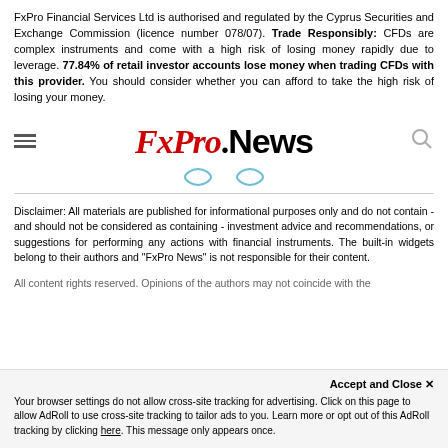FxPro Financial Services Ltd is authorised and regulated by the Cyprus Securities and Exchange Commission (licence number 078/07). Trade Responsibly: CFDs are complex instruments and come with a high risk of losing money rapidly due to leverage. 77.84% of retail investor accounts lose money when trading CFDs with this provider. You should consider whether you can afford to take the high risk of losing your money.
[Figure (logo): FxPro.News logo with hamburger menu icon on left and search icon on right, plus two social media icons below]
Disclaimer: All materials are published for informational purposes only and do not contain - and should not be considered as containing - investment advice and recommendations, or suggestions for performing any actions with financial instruments. The built-in widgets belong to their authors and "FxPro News" is not responsible for their content.
All content rights reserved. Opinions of the authors may not coincide with the
Accept and Close ✕
Your browser settings do not allow cross-site tracking for advertising. Click on this page to allow AdRoll to use cross-site tracking to tailor ads to you. Learn more or opt out of this AdRoll tracking by clicking here. This message only appears once.